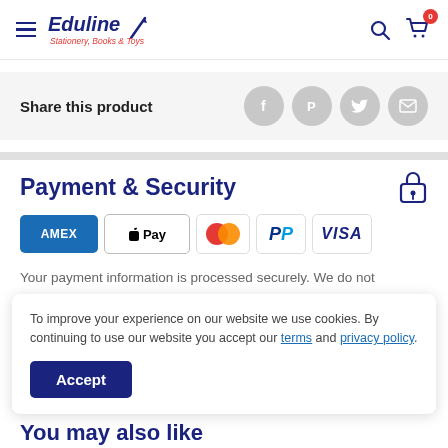Eduline Stationery, Books & Toys
Share this product
Payment & Security
[Figure (logo): Payment method logos: American Express (AMEX), Apple Pay, Mastercard, PayPal, VISA]
Your payment information is processed securely. We do not
To improve your experience on our website we use cookies. By continuing to use our website you accept our terms and privacy policy.
Accept
You may also like